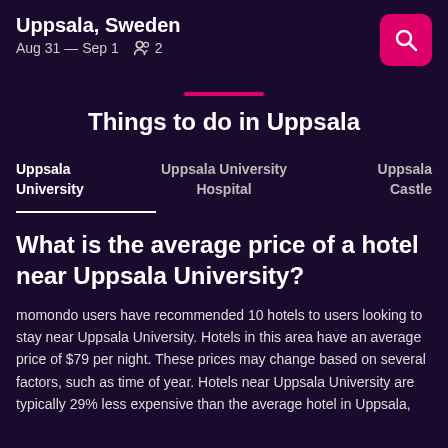Uppsala, Sweden
Aug 31 — Sep 1  2
Things to do in Uppsala
Uppsala University   Uppsala University Hospital   Uppsala Castle
What is the average price of a hotel near Uppsala University?
momondo users have recommended 10 hotels to users looking to stay near Uppsala University. Hotels in this area have an average price of $79 per night. These prices may change based on several factors, such as time of year. Hotels near Uppsala University are typically 29% less expensive than the average hotel in Uppsala,